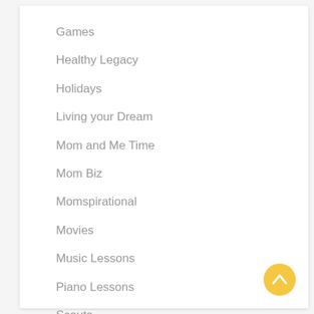Games
Healthy Legacy
Holidays
Living your Dream
Mom and Me Time
Mom Biz
Momspirational
Movies
Music Lessons
Piano Lessons
Scouts
Sports
[Figure (illustration): Yellow circular floating action button with upward chevron arrow]